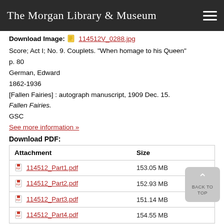The Morgan Library & Museum
Download Image: 114512V_0288.jpg
Score; Act I; No. 9. Couplets. "When homage to his Queen"
p. 80
German, Edward
1862-1936
[Fallen Fairies] : autograph manuscript, 1909 Dec. 15.
Fallen Fairies.
GSC
See more information »
Download PDF:
| Attachment | Size |
| --- | --- |
| 114512_Part1.pdf | 153.05 MB |
| 114512_Part2.pdf | 152.93 MB |
| 114512_Part3.pdf | 151.14 MB |
| 114512_Part4.pdf | 154.55 MB |